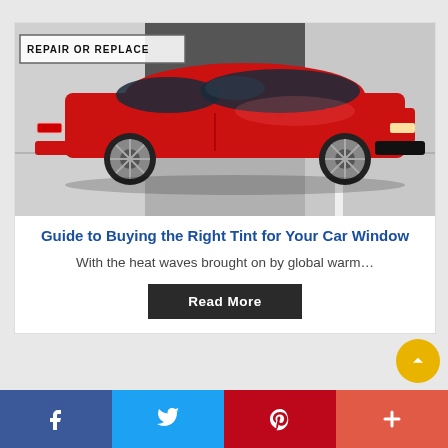[Figure (photo): Red Holden/Chevrolet SS sedan parked in a garage/showroom. A sign in the background reads 'REPAIR OR REPLACE'. The car has dark tinted windows and chrome wheels.]
Guide to Buying the Right Tint for Your Car Window
With the heat waves brought on by global warm…
Read More
[Figure (other): Social media share bar with Facebook, Twitter, Pinterest, and plus (+) buttons]